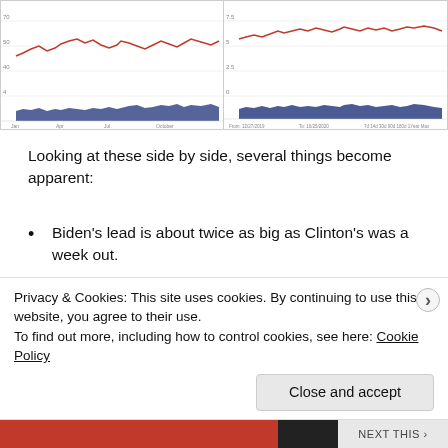[Figure (continuous-plot): Two side-by-side line charts showing polling data. Left chart shows 2016 election polling with red line (Clinton) and blue area (Trump/undecided), with a late surge visible. Right chart shows 2020 election polling with red line (Biden) and blue area.]
Looking at these side by side, several things become apparent:
Biden’s lead is about twice as big as Clinton’s was a week out.
Trump’s late surge in 2016 is readily apparent. Nothing like that seems to be going on in 2020.
There are considerably fewer undecideds at this point than there were in 2016.
Privacy & Cookies: This site uses cookies. By continuing to use this website, you agree to their use.
To find out more, including how to control cookies, see here: Cookie Policy